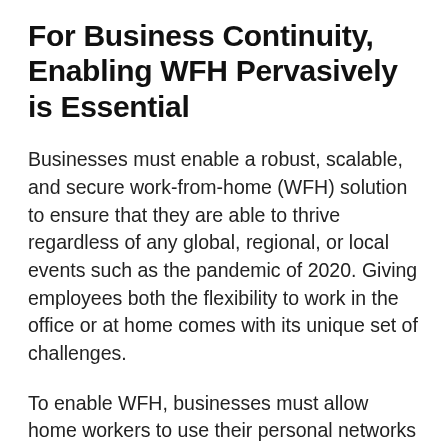For Business Continuity, Enabling WFH Pervasively is Essential
Businesses must enable a robust, scalable, and secure work-from-home (WFH) solution to ensure that they are able to thrive regardless of any global, regional, or local events such as the pandemic of 2020.  Giving employees both the flexibility to work in the office or at home comes with its unique set of challenges.
To enable WFH, businesses must allow home workers to use their personal networks and devices to access business critical applications that may be hosted at